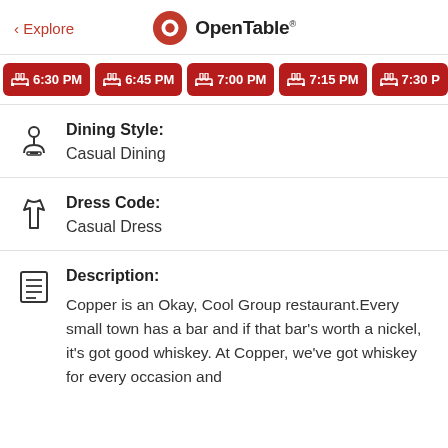< Explore  OpenTable
[Figure (screenshot): Row of red reservation time slot buttons: 6:30 PM, 6:45 PM, 7:00 PM, 7:15 PM, 7:30 PM (partial)]
Dining Style: Casual Dining
Dress Code: Casual Dress
Description: Copper is an Okay, Cool Group restaurant.Every small town has a bar and if that bar's worth a nickel, it's got good whiskey. At Copper, we've got whiskey for every occasion and